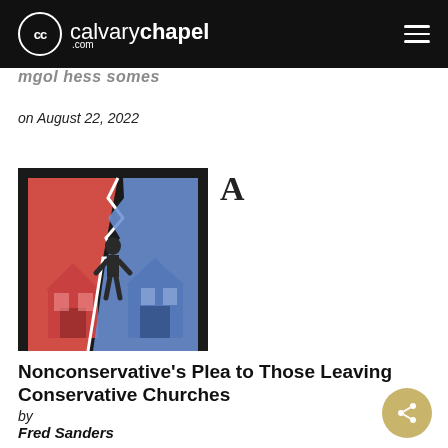calvary chapel .com
mgol hess somes
on August 22, 2022
[Figure (illustration): Torn paper effect showing two church buildings split down the middle — left half tinted red/pink, right half tinted blue, with a dark silhouette of a person standing at the tear in the center, on a dark background.]
A
Nonconservative’s Plea to Those Leaving Conservative Churches
by
Fred Sanders
on August 19, 2022